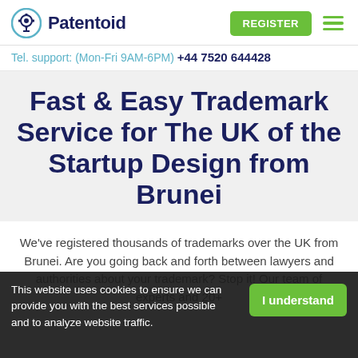[Figure (logo): Patentoid logo with gear/lightbulb icon and text 'Patentoid']
Tel. support: (Mon-Fri 9AM-6PM) +44 7520 644428
Fast & Easy Trademark Service for The UK of the Startup Design from Brunei
We've registered thousands of trademarks over the UK from Brunei. Are you going back and forth between lawyers and authorities about your trademark? Stop it! Our team of experts and 20+ years of experience will answer all your questions and register
This website uses cookies to ensure we can provide you with the best services possible and to analyze website traffic.